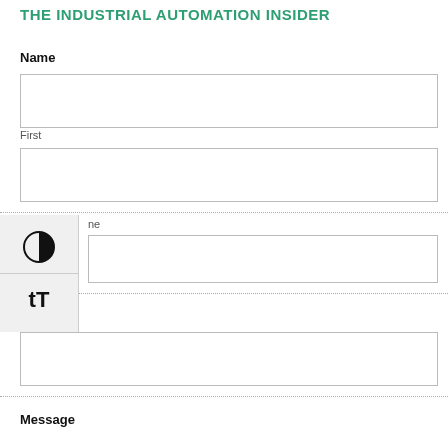THE INDUSTRIAL AUTOMATION INSIDER
Name
First
ne
Email
Message